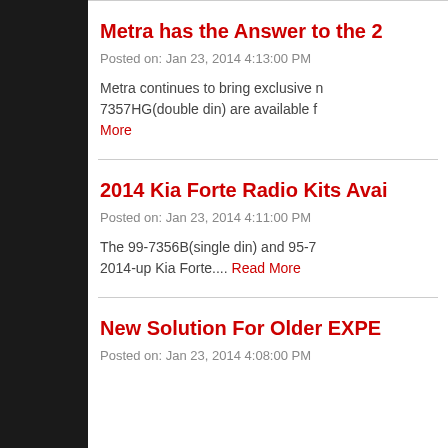Metra has the Answer to the 2...
Posted on: Jan 23, 2014 4:13:00 PM
Metra continues to bring exclusive n... 7357HG(double din) are available f... Read More
2014 Kia Forte Radio Kits Avai...
Posted on: Jan 23, 2014 4:11:00 PM
The 99-7356B(single din) and 95-7... 2014-up Kia Forte.... Read More
New Solution For Older EXPE...
Posted on: Jan 23, 2014 4:08:00 PM